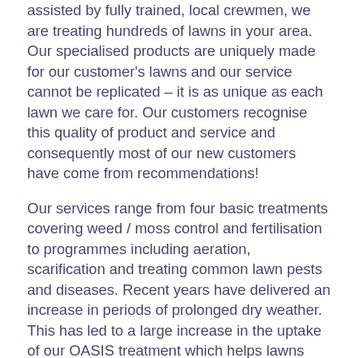assisted by fully trained, local crewmen, we are treating hundreds of lawns in your area.  Our specialised products are uniquely made for our customer's lawns and our service cannot be replicated – it is as unique as each lawn we care for.  Our customers recognise this quality of product and service and consequently most of our new customers have come from recommendations!
Our services range from four basic treatments covering weed / moss control and fertilisation to programmes including aeration, scarification and treating common lawn pests and diseases.  Recent years have delivered an increase in periods of prolonged dry weather.  This has led to a large increase in the uptake of our OASIS treatment which helps lawns perform much better in dry weather.
Our Lisburn branch covers a wide area from Lisburn to Portadown and Banbridge.  Here we treat over 3,000 lawns.